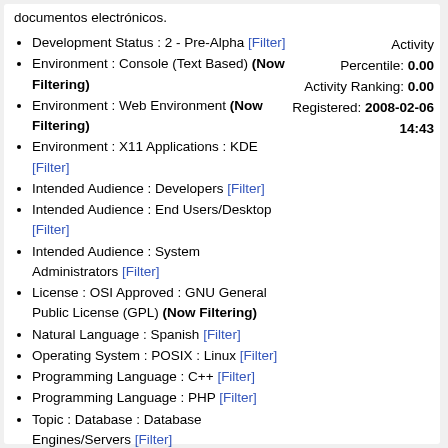documentos electrónicos.
Development Status : 2 - Pre-Alpha [Filter]
Environment : Console (Text Based) (Now Filtering)
Environment : Web Environment (Now Filtering)
Environment : X11 Applications : KDE [Filter]
Intended Audience : Developers [Filter]
Intended Audience : End Users/Desktop [Filter]
Intended Audience : System Administrators [Filter]
License : OSI Approved : GNU General Public License (GPL) (Now Filtering)
Natural Language : Spanish [Filter]
Operating System : POSIX : Linux [Filter]
Programming Language : C++ [Filter]
Programming Language : PHP [Filter]
Topic : Database : Database Engines/Servers [Filter]
Topic : Database : Front-Ends [Filter]
Activity Percentile: 0.00 Activity Ranking: 0.00 Registered: 2008-02-06 14:43